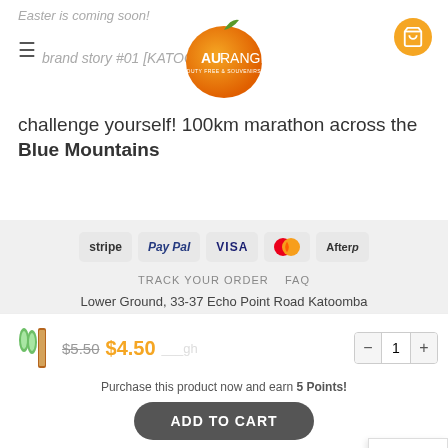Easter is coming soon!
[Figure (logo): AU-RANGE Duty Free & Souvenirs orange logo]
brand story #01 [KATOOMBA]
challenge yourself! 100km marathon across the Blue Mountains
[Figure (infographic): Payment method badges: Stripe, PayPal, VISA, MasterCard, Afterpay]
Brand
TRACK YOUR ORDER   FAQ
Lower Ground, 33-37 Echo Point Road Katoomba NSW 2780
Copyright 2022 © AU-RANGE
$5.50  $4.50
Purchase this product now and earn 5 Points!
ADD TO CART